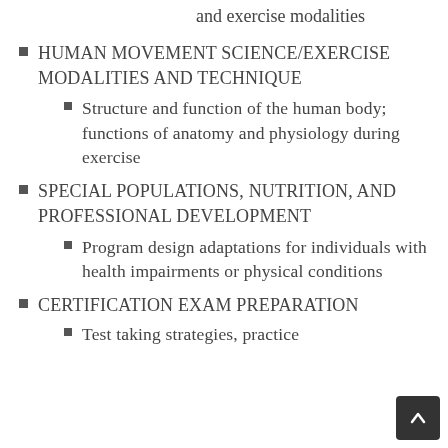and exercise modalities
HUMAN MOVEMENT SCIENCE/EXERCISE MODALITIES AND TECHNIQUE
Structure and function of the human body; functions of anatomy and physiology during exercise
SPECIAL POPULATIONS, NUTRITION, AND PROFESSIONAL DEVELOPMENT
Program design adaptations for individuals with health impairments or physical conditions
CERTIFICATION EXAM PREPARATION
Test taking strategies, practice